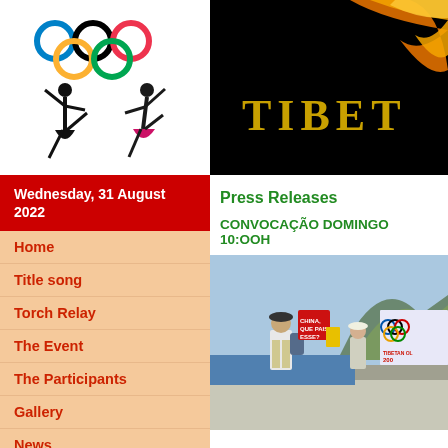[Figure (logo): Olympic rings logo with two dancer silhouettes below]
Wednesday, 31 August 2022
Home
Title song
Torch Relay
The Event
The Participants
Gallery
News
Press
Sponsorships
[Figure (photo): Dark background with golden flame and text TIBET]
Press Releases
CONVOCAÇÃO DOMINGO 10:OOH
[Figure (photo): People marching on a beach road holding protest signs including one reading CHINA QUE PAIS ESSE? and banners related to Tibetan Olympics 2008]